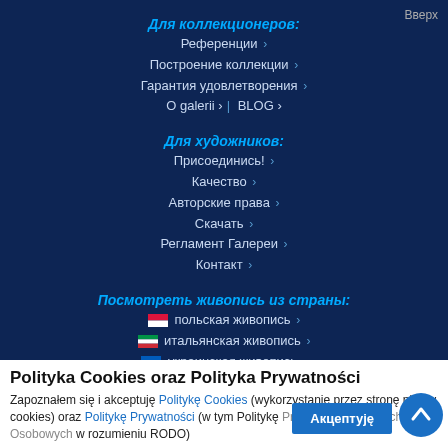Вверх
Для коллекционеров:
Референции >
Построение коллекции >
Гарантия удовлетворения >
О galerii > | BLOG >
Для художников:
Присоединись! >
Качество >
Авторские права >
Скачать >
Регламент Галереи >
Контакт >
Посмотреть живопись из страны:
🇵🇱 польская живопись >
🇮🇹 итальянская живопись >
🇺🇦 украинская живопись >
Polityka Cookies oraz Polityka Prywatności
Zapoznałem się i akceptuję Politykę Cookies (wykorzystanie przez stronę plików cookies) oraz Politykę Prywatności (w tym Politykę Przetwarzania Danych Osobowych w rozumieniu RODO)